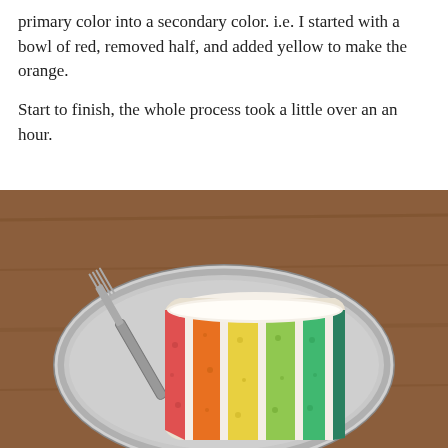primary color into a secondary color. i.e. I started with a bowl of red, removed half, and added yellow to make the orange.
Start to finish, the whole process took a little over an an hour.
[Figure (photo): A slice of rainbow layer cake on a silver/metallic plate with a fork. The cake layers are colored red, orange, yellow, green, and teal/blue-green, with white frosting between layers. The plate sits on a wooden table surface.]